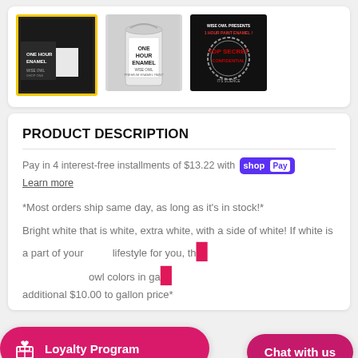[Figure (photo): Three product thumbnail images: 1) Selected thumbnail with yellow border showing 'ONE HOUR ENAMEL' product by Wise Owl on dark background. 2) Paint can labeled 'ONE HOUR ENAMEL' by Wise Owl. 3) Dark promotional image with 'WISE OWL PRESENTS 1 HOUR PAINT ENAMEL' and 'TOP SECRET CONFIDENTIAL' stamp graphic.]
PRODUCT DESCRIPTION
Pay in 4 interest-free installments of $13.22 with shop Pay
Learn more
*Most orders ship same day, as long as it's in stock!*
Bright white that is white, extra white, with a side of white! If white is a part of your lifestyle, th... owl colors in ga... additional $10.00 to gallon price*